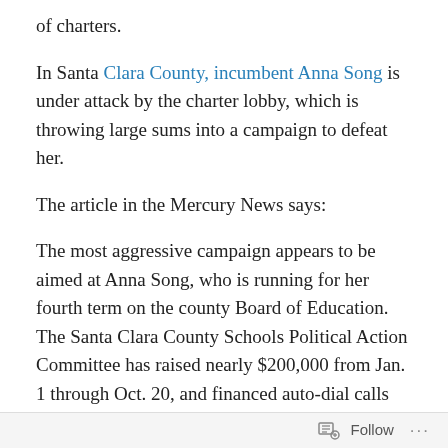of charters.
In Santa Clara County, incumbent Anna Song is under attack by the charter lobby, which is throwing large sums into a campaign to defeat her.
The article in the Mercury News says:
The most aggressive campaign appears to be aimed at Anna Song, who is running for her fourth term on the county Board of Education.
The Santa Clara County Schools Political Action Committee has raised nearly $200,000 from Jan. 1 through Oct. 20, and financed auto-dial calls plus four mailers slamming Song and three supporting her challenger, trustee David Neighbors.
Follow ...